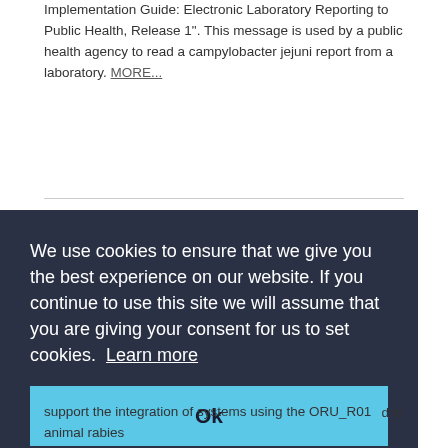Implementation Guide: Electronic Laboratory Reporting to Public Health, Release 1". This message is used by a public health agency to read a campylobacter jejuni report from a laboratory. MORE...
[Figure (logo): Orange square logo with white letter 'i' and brown electrical plug icon]
We use cookies to ensure that we give you the best experience on our website. If you continue to use this site we will assume that you are giving your consent for us to set cookies. Learn more
Ok
...d to support the integration of systems using the ORU_R01 animal rabies